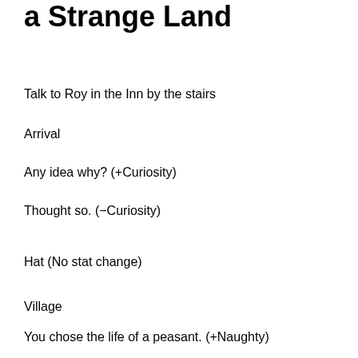a Strange Land
Talk to Roy in the Inn by the stairs
Arrival
Any idea why? (+Curiosity)
Thought so. (-Curiosity)
Hat (No stat change)
Village
You chose the life of a peasant. (+Naughty)
Sounds good. (No stat change)